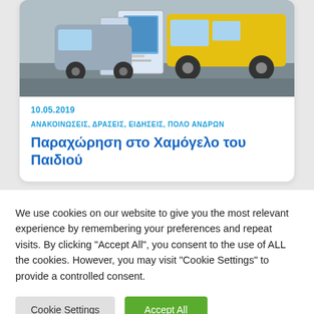[Figure (photo): Outdoor photo showing a yellow van and a large boxed TV or monitor being unloaded on a street]
10.05.2019
ΑΝΑΚΟΙΝΩΣΕΙΣ, ΔΡΑΣΕΙΣ, ΕΙΔΗΣΕΙΣ, ΠΟΛΟ ΑΝΔΡΩΝ
Παραχώρηση στο Χαμόγελο του Παιδιού
We use cookies on our website to give you the most relevant experience by remembering your preferences and repeat visits. By clicking "Accept All", you consent to the use of ALL the cookies. However, you may visit "Cookie Settings" to provide a controlled consent.
Cookie Settings | Accept All